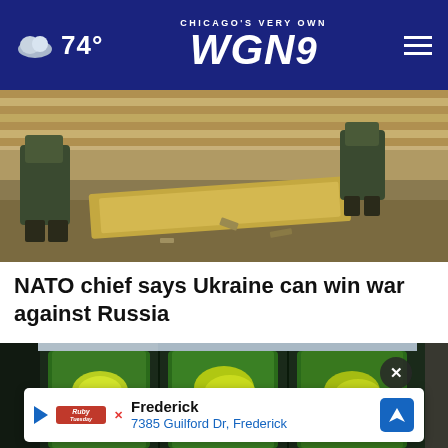74° CHICAGO'S VERY OWN WGN9
[Figure (photo): Military scene showing soldier boots near rubble and cardboard on ground]
NATO chief says Ukraine can win war against Russia
[Figure (photo): Three plastic bottles filled with green cucumber and lemon slices in liquid]
Frederick
7385 Guilford Dr, Frederick